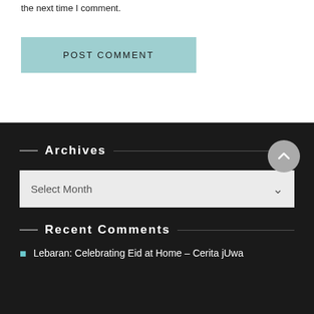the next time I comment.
POST COMMENT
Archives
Select Month
Recent Comments
Lebaran: Celebrating Eid at Home – Cerita jUwa